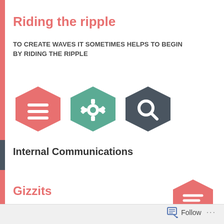Riding the ripple
TO CREATE WAVES IT SOMETIMES HELPS TO BEGIN BY RIDING THE RIPPLE
[Figure (infographic): Three hexagon icons: a red hexagon with a menu/lines icon, a teal hexagon with a settings/gear icon, and a dark hexagon with a search/magnifier icon]
Internal Communications
Gizzits
[Figure (infographic): A red hexagon icon with a menu/text lines icon, positioned at bottom right]
Follow ...